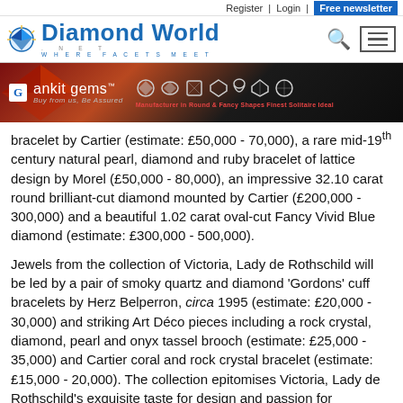Register | Login | Free newsletter
[Figure (logo): Diamond World logo with gem icon, tagline 'WHERE FACETS MEET', search icon and hamburger menu]
[Figure (illustration): Ankit Gems advertisement banner with logo, 'Buy from us, Be Assured', gem images, and 'Manufacturer in Round & Fancy Shapes Finest Solitaire Ideal']
bracelet by Cartier (estimate: £50,000 - 70,000), a rare mid-19th century natural pearl, diamond and ruby bracelet of lattice design by Morel (£50,000 - 80,000), an impressive 32.10 carat round brilliant-cut diamond mounted by Cartier (£200,000 - 300,000) and a beautiful 1.02 carat oval-cut Fancy Vivid Blue diamond (estimate: £300,000 - 500,000).
Jewels from the collection of Victoria, Lady de Rothschild will be led by a pair of smoky quartz and diamond 'Gordons' cuff bracelets by Herz Belperron, circa 1995 (estimate: £20,000 - 30,000) and striking Art Déco pieces including a rock crystal, diamond, pearl and onyx tassel brooch (estimate: £25,000 - 35,000) and Cartier coral and rock crystal bracelet (estimate: £15,000 - 20,000). The collection epitomises Victoria, Lady de Rothschild's exquisite taste for design and passion for craftsmanship, characterised by bold sculptural cuff